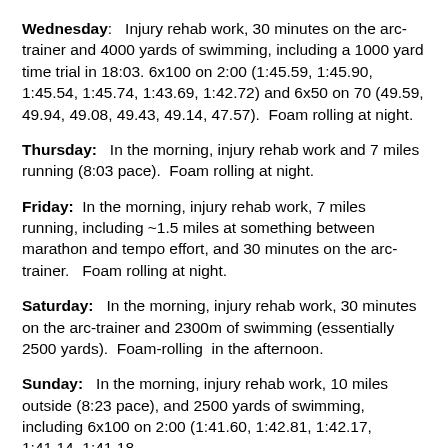Wednesday:   Injury rehab work, 30 minutes on the arc-trainer and 4000 yards of swimming, including a 1000 yard time trial in 18:03. 6x100 on 2:00 (1:45.59, 1:45.90, 1:45.54, 1:45.74, 1:43.69, 1:42.72) and 6x50 on 70 (49.59, 49.94, 49.08, 49.43, 49.14, 47.57).  Foam rolling at night.
Thursday:   In the morning, injury rehab work and 7 miles running (8:03 pace).  Foam rolling at night.
Friday:  In the morning, injury rehab work, 7 miles running, including ~1.5 miles at something between marathon and tempo effort, and 30 minutes on the arc-trainer.   Foam rolling at night.
Saturday:   In the morning, injury rehab work, 30 minutes on the arc-trainer and 2300m of swimming (essentially 2500 yards).  Foam-rolling  in the afternoon.
Sunday:   In the morning, injury rehab work, 10 miles outside (8:23 pace), and 2500 yards of swimming, including 6x100 on 2:00 (1:41.60, 1:42.81, 1:42.17, 1:41.14, 1:41.18,